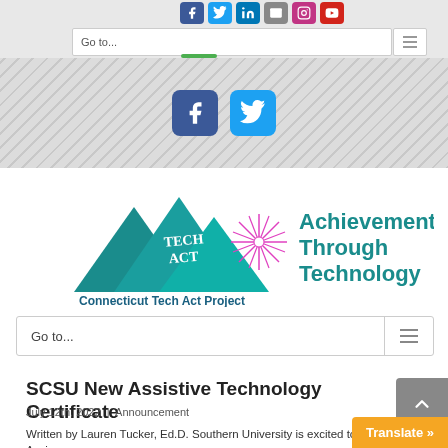Go to...
[Figure (logo): Connecticut Tech Act Project logo — TECH ACT text inside teal mountain triangles with a pink starburst, beside teal bold text 'Achievement Through Technology' and subtitle 'Connecticut Tech Act Project']
Go to...
SCSU New Assistive Technology Certificate
July 12th, 2022  |  Announcement
Written by Lauren Tucker, Ed.D. Southern University is excited to be offering an Assi...